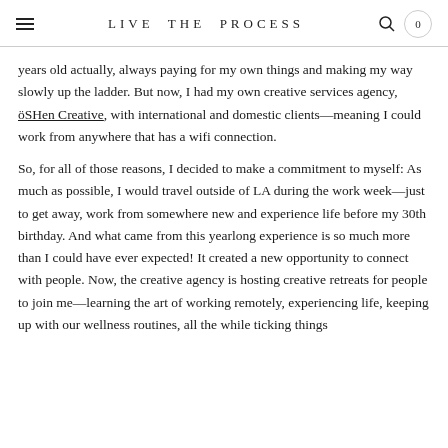LIVE THE PROCESS
years old actually, always paying for my own things and making my way slowly up the ladder. But now, I had my own creative services agency, öSHen Creative, with international and domestic clients—meaning I could work from anywhere that has a wifi connection.
So, for all of those reasons, I decided to make a commitment to myself: As much as possible, I would travel outside of LA during the work week—just to get away, work from somewhere new and experience life before my 30th birthday. And what came from this yearlong experience is so much more than I could have ever expected! It created a new opportunity to connect with people. Now, the creative agency is hosting creative retreats for people to join me—learning the art of working remotely, experiencing life, keeping up with our wellness routines, all the while ticking things